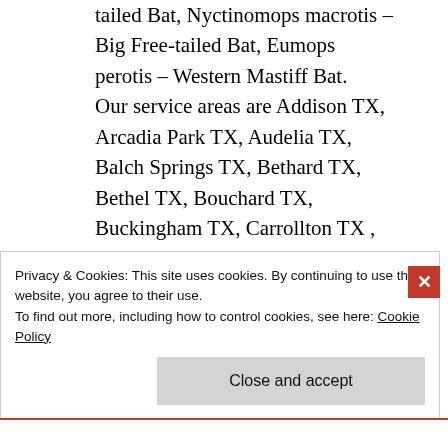tailed Bat, Nyctinomops macrotis – Big Free-tailed Bat, Eumops perotis – Western Mastiff Bat. Our service areas are Addison TX, Arcadia Park TX, Audelia TX, Balch Springs TX, Bethard TX, Bethel TX, Bouchard TX, Buckingham TX, Carrollton TX , Cedar Hill TX, Cedarview TX, Centerville TX, Cockrell Hill TX,
Privacy & Cookies: This site uses cookies. By continuing to use this website, you agree to their use. To find out more, including how to control cookies, see here: Cookie Policy